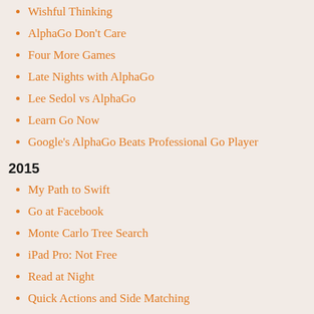Wishful Thinking
AlphaGo Don't Care
Four More Games
Late Nights with AlphaGo
Lee Sedol vs AlphaGo
Learn Go Now
Google's AlphaGo Beats Professional Go Player
2015
My Path to Swift
Go at Facebook
Monte Carlo Tree Search
iPad Pro: Not Free
Read at Night
Quick Actions and Side Matching
Summer Reading